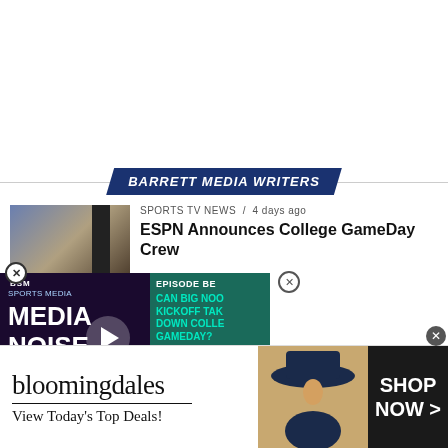[Figure (logo): Barrett Media Writers banner badge with dark blue parallelogram background and italic white bold text]
[Figure (photo): ESPN College GameDay crew photo with dark bar on right side]
SPORTS TV NEWS / 4 days ago
ESPN Announces College GameDay Crew
4 days ago
p Appearance Leads to ovement Conference Apology
[Figure (screenshot): BSM Media Noise podcast video player overlay with episode text: CAN BIG NOON KICKOFF TAKE DOWN COLLEGE GAMEDAY? with play button and College GameDay vs FOX Big Noon logos at bottom]
[Figure (screenshot): Bloomingdales advertisement: View Today's Top Deals! with model in hat and SHOP NOW button]